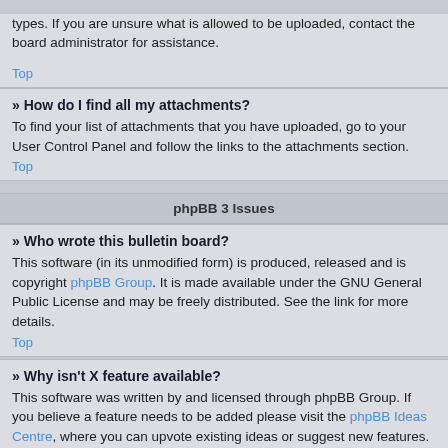types. If you are unsure what is allowed to be uploaded, contact the board administrator for assistance.
Top
» How do I find all my attachments?
To find your list of attachments that you have uploaded, go to your User Control Panel and follow the links to the attachments section.
Top
phpBB 3 Issues
» Who wrote this bulletin board?
This software (in its unmodified form) is produced, released and is copyright phpBB Group. It is made available under the GNU General Public License and may be freely distributed. See the link for more details.
Top
» Why isn't X feature available?
This software was written by and licensed through phpBB Group. If you believe a feature needs to be added please visit the phpBB Ideas Centre, where you can upvote existing ideas or suggest new features.
Top
» Who do I contact about abusive and/or legal matters related to this board?